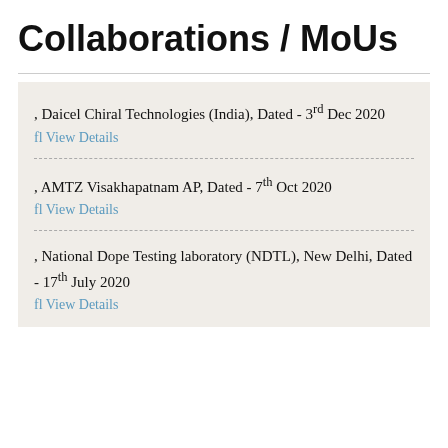Collaborations / MoUs
, Daicel Chiral Technologies (India), Dated - 3rd Dec 2020
fl View Details
, AMTZ Visakhapatnam AP, Dated - 7th Oct 2020
fl View Details
, National Dope Testing laboratory (NDTL), New Delhi, Dated - 17th July 2020
fl View Details